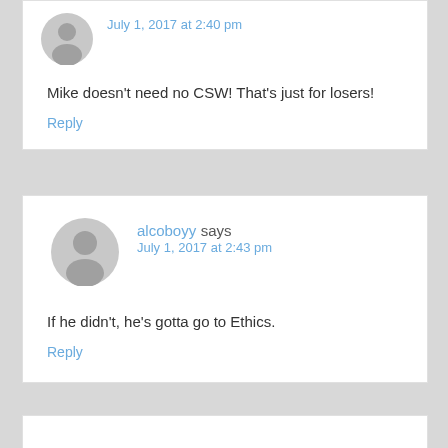July 1, 2017 at 2:40 pm
Mike doesn't need no CSW! That's just for losers!
Reply
alcoboyy says
July 1, 2017 at 2:43 pm
If he didn't, he's gotta go to Ethics.
Reply